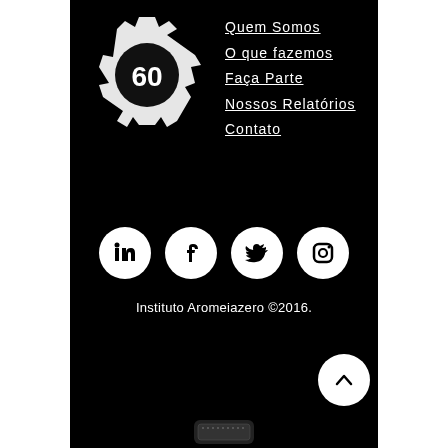[Figure (logo): Circular gear/badge logo with '60' or similar numeral in the center, white on black background]
Quem Somos
O que fazemos
Faça Parte
Nossos Relatórios
Contato
[Figure (illustration): Social media icons: LinkedIn, Facebook, Twitter, Instagram — white circles on black background]
Instituto Aromeiazero ©2016.